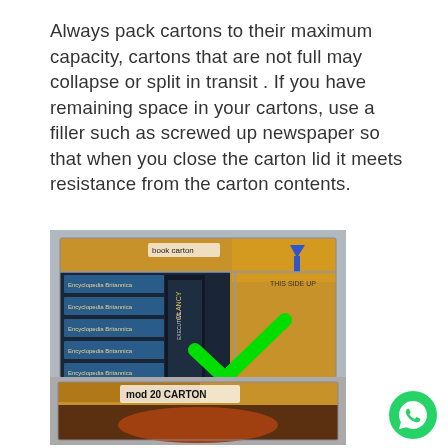Always pack cartons to their maximum capacity, cartons that are not full may collapse or split in transit . If you have remaining space in your cartons, use a filler such as screwed up newspaper so that when you close the carton lid it meets resistance from the carton contents.
[Figure (photo): Photo of a cardboard book carton filled with Encyclopedia Britannica volumes and other books, with a large green checkmark overlay and a label reading 'book carton'. Blue arrows indicate 'THIS SIDE UP'.]
[Figure (photo): Photo of a partially open cardboard carton labeled 'mod 20 CARTON' containing what appears to be a round object.]
[Figure (logo): WhatsApp logo — green circle with white phone handset icon.]